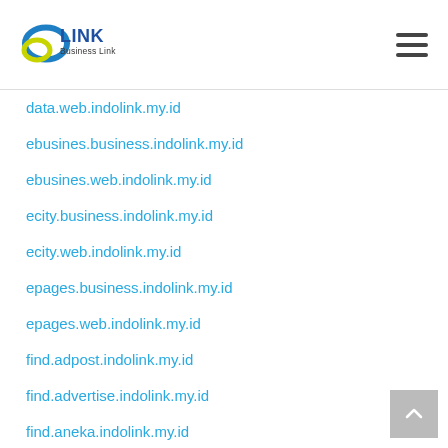[Figure (logo): Indolink Business Link logo with blue circle/ring and yellow/green accent, with text LINK in blue and Business Link below]
data.web.indolink.my.id
ebusines.business.indolink.my.id
ebusines.web.indolink.my.id
ecity.business.indolink.my.id
ecity.web.indolink.my.id
epages.business.indolink.my.id
epages.web.indolink.my.id
find.adpost.indolink.my.id
find.advertise.indolink.my.id
find.aneka.indolink.my.id
find.arena.indolink.my.id
find.arsip.indolink.my.id
find.backlink.indolink.my.id
find.bursa.indolink.my.id
find.busines.indolink.my.id
find.busines.indolink.my.id (partial)